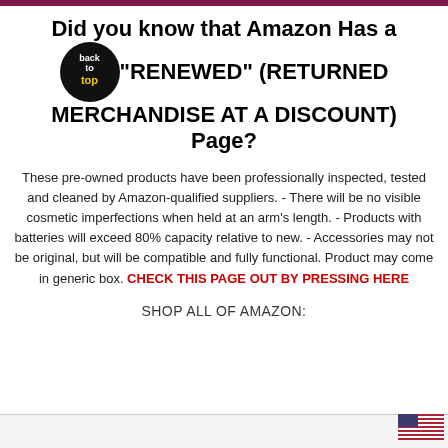Did you know that Amazon Has a "RENEWED" (RETURNED MERCHANDISE AT A DISCOUNT) Page?
These pre-owned products have been professionally inspected, tested and cleaned by Amazon-qualified suppliers. - There will be no visible cosmetic imperfections when held at an arm's length. - Products with batteries will exceed 80% capacity relative to new. - Accessories may not be original, but will be compatible and fully functional. Product may come in generic box. CHECK THIS PAGE OUT BY PRESSING HERE
SHOP ALL OF AMAZON:
[Figure (other): Partial view of US flag at bottom right corner]